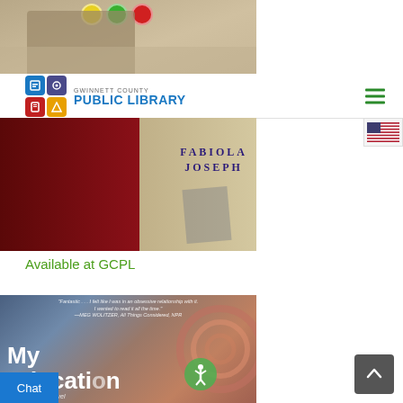[Figure (photo): Top portion of a person holding notebooks against a white brick wall, with colored discs (yellow, green, red) at the top]
[Figure (logo): Gwinnett County Public Library logo with colorful icon grid and blue text]
[Figure (photo): Book cover featuring Fabiola Joseph with dark red background and author name in blue letters]
Available at GCPL
[Figure (photo): Book cover of 'My Education - a novel' with swirling colorful background and a quote from Meg Wolitzer, NPR]
Chat